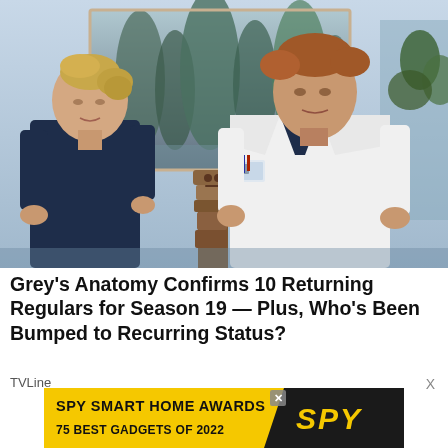[Figure (photo): Two actors from Grey's Anatomy standing in a hospital setting. On the left, a woman with blonde hair in a bun wearing dark navy scrubs. On the right, a man with reddish hair wearing a white doctor's coat over navy scrubs with a badge clipped to the lapel. Background shows a painted forest mural and a decorative wooden totem-like sculpture.]
Grey's Anatomy Confirms 10 Returning Regulars for Season 19 — Plus, Who's Been Bumped to Recurring Status?
TVLine
[Figure (screenshot): Advertisement banner: SPY SMART HOME AWARDS / 75 BEST GADGETS OF 2022 with SPY logo on yellow background]